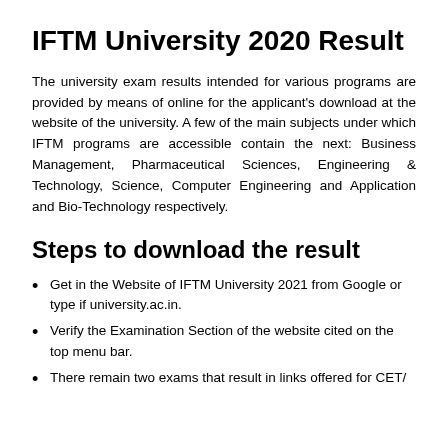IFTM University 2020 Result
The university exam results intended for various programs are provided by means of online for the applicant's download at the website of the university. A few of the main subjects under which IFTM programs are accessible contain the next: Business Management, Pharmaceutical Sciences, Engineering & Technology, Science, Computer Engineering and Application and Bio-Technology respectively.
Steps to download the result
Get in the Website of IFTM University 2021 from Google or type if university.ac.in.
Verify the Examination Section of the website cited on the top menu bar.
There remain two exams that result in links offered for CET/